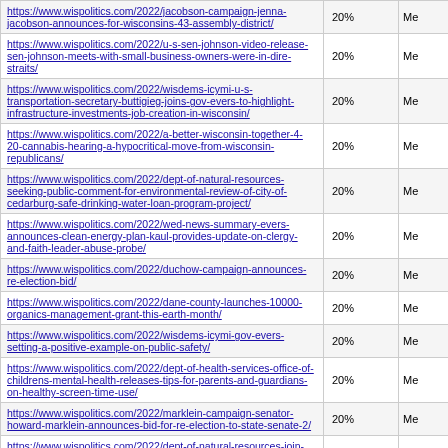| URL | 20% | Me |
| --- | --- | --- |
| https://www.wispolitics.com/2022/jacobson-campaign-jenna-jacobson-announces-for-wisconsins-43-assembly-district/ | 20% | Me |
| https://www.wispolitics.com/2022/u-s-sen-johnson-video-release-sen-johnson-meets-with-small-business-owners-were-in-dire-straits/ | 20% | Me |
| https://www.wispolitics.com/2022/wisdems-icymi-u-s-transportation-secretary-buttigieg-joins-gov-evers-to-highlight-infrastructure-investments-job-creation-in-wisconsin/ | 20% | Me |
| https://www.wispolitics.com/2022/a-better-wisconsin-together-4-20-cannabis-hearing-a-hypocritical-move-from-wisconsin-republicans/ | 20% | Me |
| https://www.wispolitics.com/2022/dept-of-natural-resources-seeking-public-comment-for-environmental-review-of-city-of-cedarburg-safe-drinking-water-loan-program-project/ | 20% | Me |
| https://www.wispolitics.com/2022/wed-news-summary-evers-announces-clean-energy-plan-kaul-provides-update-on-clergy-and-faith-leader-abuse-probe/ | 20% | Me |
| https://www.wispolitics.com/2022/duchow-campaign-announces-re-election-bid/ | 20% | Me |
| https://www.wispolitics.com/2022/dane-county-launches-10000-organics-management-grant-this-earth-month/ | 20% | Me |
| https://www.wispolitics.com/2022/wisdems-icymi-gov-evers-setting-a-positive-example-on-public-safety/ | 20% | Me |
| https://www.wispolitics.com/2022/dept-of-health-services-office-of-childrens-mental-health-releases-tips-for-parents-and-guardians-on-healthy-screen-time-use/ | 20% | Me |
| https://www.wispolitics.com/2022/marklein-campaign-senator-howard-marklein-announces-bid-for-re-election-to-state-senate-2/ | 20% | Me |
| https://www.wispolitics.com/2022/dept-of-natural-resources-join-the-dnr-to-celebrate-earth-day/ | 20% | Me |
| https://www.wispolitics.com/2022/jarchow-campaign-introduces-policy-proposals-to-empower-law-enforcement-fight-crime/ | 20% | Me |
| https://www.wispolitics.com/2022/thomsen-campaign-andrew-thomsen-announces-state-senate-run/ | 20% | Me |
| https://www.wispolitics.com/2022/sen-agard-to-testify-against-medical-... | 20% | Me |